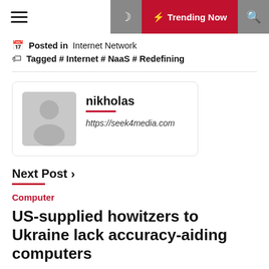☰  ☽  ⚡ Trending Now  🔍
📅  Posted in  Internet Network
🏷  Tagged # Internet # NaaS # Redefining
[Figure (illustration): Author avatar placeholder (grey silhouette icon)]
nikholas
https://seek4media.com
Next Post ›
Computer
US-supplied howitzers to Ukraine lack accuracy-aiding computers
Mon Jun 20 , 2022